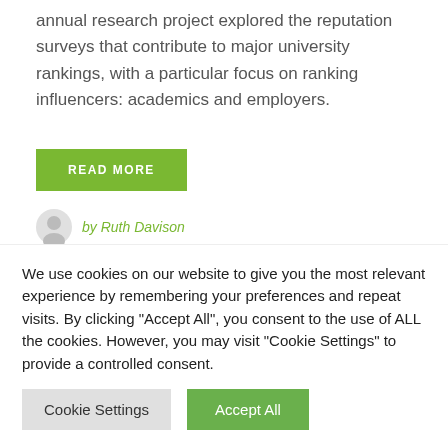annual research project explored the reputation surveys that contribute to major university rankings, with a particular focus on ranking influencers: academics and employers.
READ MORE
by Ruth Davison
0 Comments  2 Minutes
We use cookies on our website to give you the most relevant experience by remembering your preferences and repeat visits. By clicking "Accept All", you consent to the use of ALL the cookies. However, you may visit "Cookie Settings" to provide a controlled consent.
Cookie Settings
Accept All